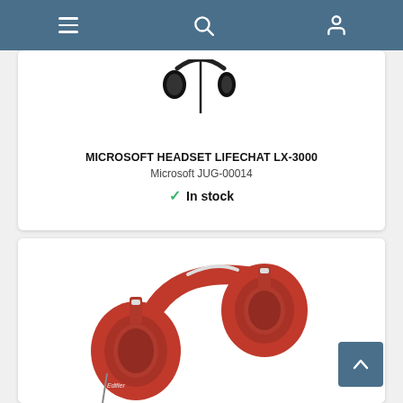Navigation bar with hamburger menu, search icon, and user icon
[Figure (photo): Partial view of Microsoft LifeChat LX-3000 headset (black, wired), showing headband and ear cup from above]
MICROSOFT HEADSET LIFECHAT LX-3000
Microsoft JUG-00014
✓ In stock
[Figure (photo): Red over-ear headphones (Edifier brand), large ear cups, silver accents on headband, shown at an angle]